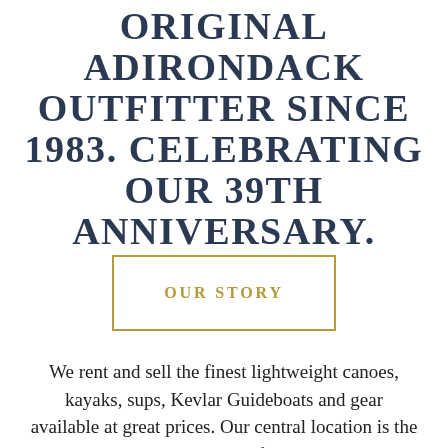ORIGINAL ADIRONDACK OUTFITTER SINCE 1983. CELEBRATING OUR 39TH ANNIVERSARY.
OUR STORY
We rent and sell the finest lightweight canoes, kayaks, sups, Kevlar Guideboats and gear available at great prices. Our central location is the gateway to a quick myriad of wilderness routes. Our local knowledge and...